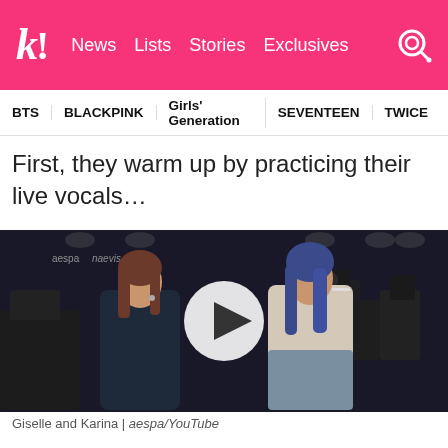k! News Lists Stories Exclusives
BTS   BLACKPINK   Girls' Generation   SEVENTEEN   TWICE
First, they warm up by practicing their live vocals…
[Figure (photo): Giselle and Karina from aespa on a dark backstage stage, with a play button overlay in the center]
Giselle and Karina | aespa/YouTube